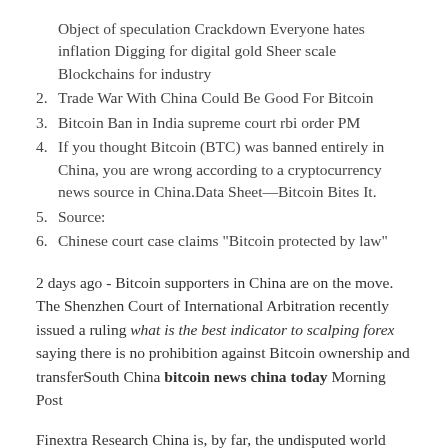Object of speculation Crackdown Everyone hates inflation Digging for digital gold Sheer scale Blockchains for industry
2. Trade War With China Could Be Good For Bitcoin
3. Bitcoin Ban in India supreme court rbi order PM
4. If you thought Bitcoin (BTC) was banned entirely in China, you are wrong according to a cryptocurrency news source in China.Data Sheet—Bitcoin Bites It.
5. Source:
6. Chinese court case claims "Bitcoin protected by law"
2 days ago - Bitcoin supporters in China are on the move. The Shenzhen Court of International Arbitration recently issued a ruling what is the best indicator to scalping forex saying there is no prohibition against Bitcoin ownership and transferSouth China bitcoin news china today Morning Post
Finextra Research China is, by far, the undisputed world